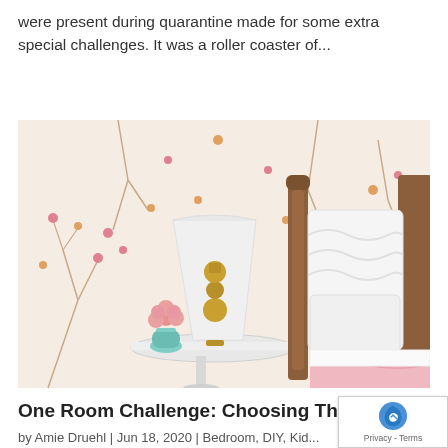were present during quarantine made for some extra special challenges. It was a roller coaster of...
[Figure (photo): Bedroom scene with floral wallpaper, white round side table with a gold lamp and pink flower in a teal vase, wooden bed headboard with white ruffled pillows and pink bedding.]
One Room Challenge: Choosing The Bed (We Seven)
by Amie Druehl | Jun 18, 2020 | Bedroom, DIY, Kid...